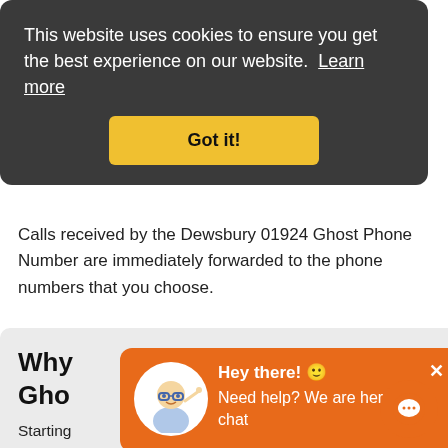This website uses cookies to ensure you get the best experience on our website. Learn more
Got it!
Calls received by the Dewsbury 01924 Ghost Phone Number are immediately forwarded to the phone numbers that you choose.
Why [use a] Ghost [Phone Number]
Starting [from...] an 01924 Ghost Phone Number for advertising in Dewsbury? Want to track your call statistics?
There are loads of reasons why people in the Dewsbury area use Numberpeople for their 01924 telephone number, from new business startups to advertising in a local paper...
Hey there! 🙂
Need help? We are here to chat